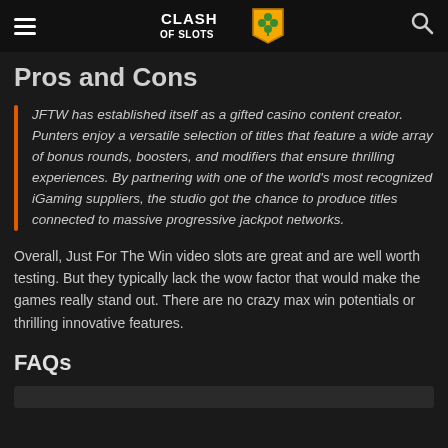Clash of Slots
Pros and Cons
JFTW has established itself as a gifted casino content creator. Punters enjoy a versatile selection of titles that feature a wide array of bonus rounds, boosters, and modifiers that ensure thrilling experiences. By partnering with one of the world's most recognized iGaming suppliers, the studio got the chance to produce titles connected to massive progressive jackpot networks.
Overall, Just For The Win video slots are great and are well worth testing. But they typically lack the wow factor that would make the games really stand out. There are no crazy max win potentials or thrilling innovative features.
FAQs